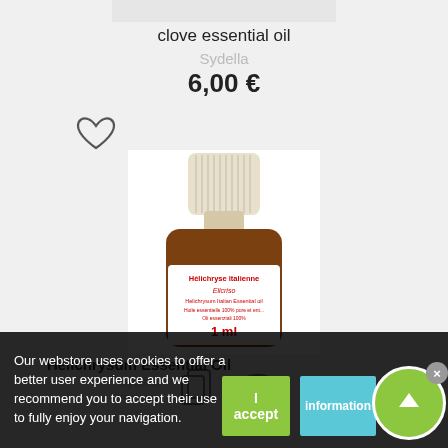clove essential oil
Sydella
6,00 €
[Figure (photo): Small amber glass essential oil bottle with cream/white ribbed cap, labeled 'Hélichryse italienne / Elicriso / Helichrysum Italian Essential oil / Huile essentielle 100% pure et ent... / Oli essenziali 100% / 1 ml']
Helichrysum Essential Oil
Sydella
reviews
Our webstore uses cookies to offer a better user experience and we recommend you to accept their use to fully enjoy your navigation.
I accept
Information